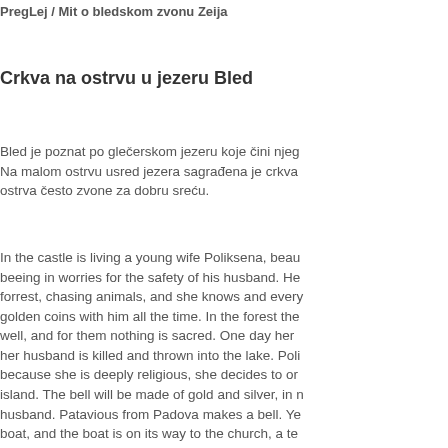PregLej / Mit o bledskom zvonu Zeija
Crkva na ostrvu u jezeru Bled
Bled je poznat po glečerskom jezeru koje čini njeg... Na malom ostrvu usred jezera sagrađena je crkva... ostrva često zvone za dobru sreću.
In the castle is living a young wife Poliksena, beau... beeing in worries for the safety of his husband. He... forrest, chasing animals, and she knows and every... golden coins with him all the time. In the forest the... well, and for them nothing is sacred. One day her... her husband is killed and thrown into the lake. Poli... because she is deeply religious, she decides to or... island. The bell will be made of gold and silver, in n... husband. Patavious from Padova makes a bell. Ye... boat, and the boat is on its way to the church, a te... blue sky and the boat, the bell and everyone who w... bottom of the lake. Grievous widow who was obse... hall accepts her destiny, leaves her castle and goe... before her death she finds her peace. After her de... people living a Bled a new bell and he blesses it w...